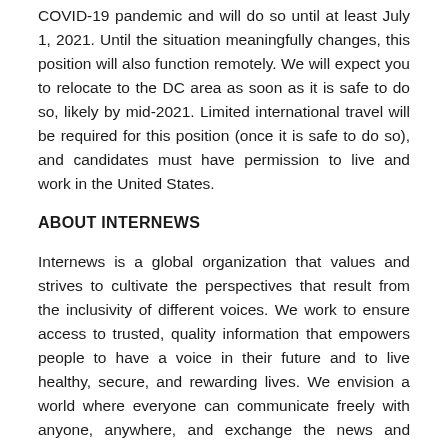COVID-19 pandemic and will do so until at least July 1, 2021. Until the situation meaningfully changes, this position will also function remotely. We will expect you to relocate to the DC area as soon as it is safe to do so, likely by mid-2021. Limited international travel will be required for this position (once it is safe to do so), and candidates must have permission to live and work in the United States.
ABOUT INTERNEWS
Internews is a global organization that values and strives to cultivate the perspectives that result from the inclusivity of different voices. We work to ensure access to trusted, quality information that empowers people to have a voice in their future and to live healthy, secure, and rewarding lives. We envision a world where everyone can communicate freely with anyone, anywhere, and exchange the news and information they need to help shape their communities and the world. Over 35 years, we have